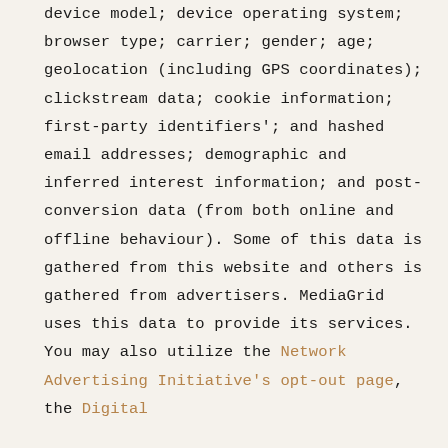device model; device operating system; browser type; carrier; gender; age; geolocation (including GPS coordinates); clickstream data; cookie information; first-party identifiers'; and hashed email addresses; demographic and inferred interest information; and post-conversion data (from both online and offline behaviour). Some of this data is gathered from this website and others is gathered from advertisers. MediaGrid uses this data to provide its services. You may also utilize the Network Advertising Initiative's opt-out page, the Digital